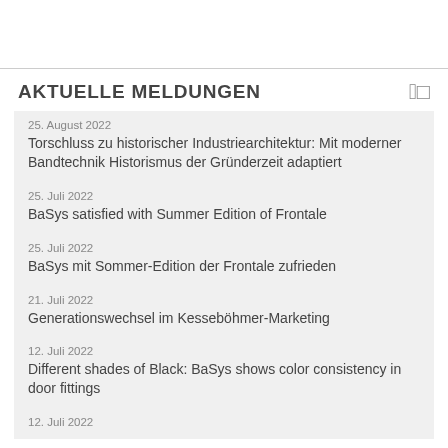AKTUELLE MELDUNGEN
25. August 2022 – Torschluss zu historischer Industriearchitektur: Mit moderner Bandtechnik Historismus der Gründerzeit adaptiert
25. Juli 2022 – BaSys satisfied with Summer Edition of Frontale
25. Juli 2022 – BaSys mit Sommer-Edition der Frontale zufrieden
21. Juli 2022 – Generationswechsel im Kesseböhmer-Marketing
12. Juli 2022 – Different shades of Black: BaSys shows color consistency in door fittings
12. Juli 2022